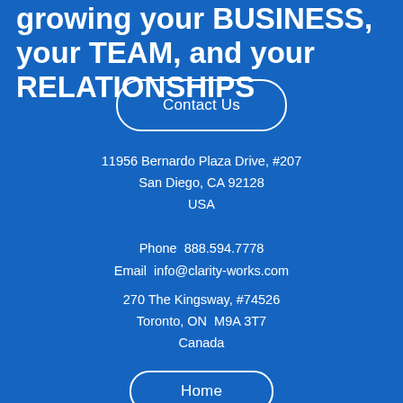growing your BUSINESS, your TEAM, and your RELATIONSHIPS
Contact Us
11956 Bernardo Plaza Drive, #207
San Diego, CA 92128
USA
Phone  888.594.7778
Email  info@clarity-works.com
270 The Kingsway, #74526
Toronto, ON  M9A 3T7
Canada
Home